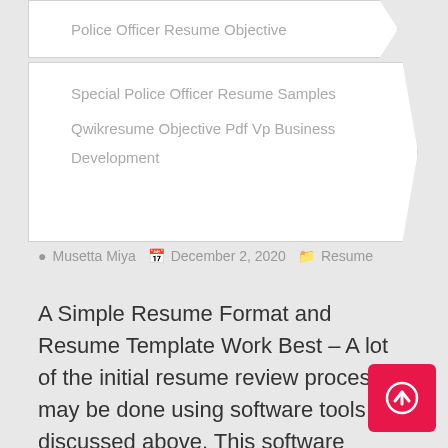Police Officer Resume Objective
Special Police Officer Resume Samples
Qwikresume Objective Pdf Vp Business Development
Musetta Miya  December 2, 2020  Resume
A Simple Resume Format and Resume Template Work Best – A lot of the initial resume review process may be done using software tools as discussed above. This software typically scans a resume for specific sections of information, such as profile or summary, work experience, education, training, etc. If the software can't